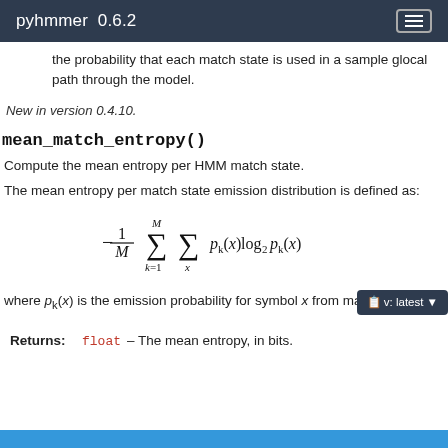pyhmmer 0.6.2
the probability that each match state is used in a sample glocal path through the model.
New in version 0.4.10.
mean_match_entropy()
Compute the mean entropy per HMM match state.
The mean entropy per match state emission distribution is defined as:
where p_k(x) is the emission probability for symbol x from match state k.
Returns: float – The mean entropy, in bits.